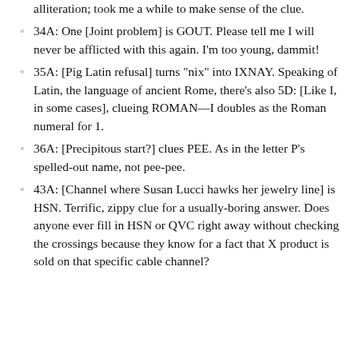alliteration; took me a while to make sense of the clue.
34A: One [Joint problem] is GOUT. Please tell me I will never be afflicted with this again. I’m too young, dammit!
35A: [Pig Latin refusal] turns “nix” into IXNAY. Speaking of Latin, the language of ancient Rome, there’s also 5D: [Like I, in some cases], clueing ROMAN—I doubles as the Roman numeral for 1.
36A: [Precipitous start?] clues PEE. As in the letter P’s spelled-out name, not pee-pee.
43A: [Channel where Susan Lucci hawks her jewelry line] is HSN. Terrific, zippy clue for a usually-boring answer. Does anyone ever fill in HSN or QVC right away without checking the crossings because they know for a fact that X product is sold on that specific cable channel?